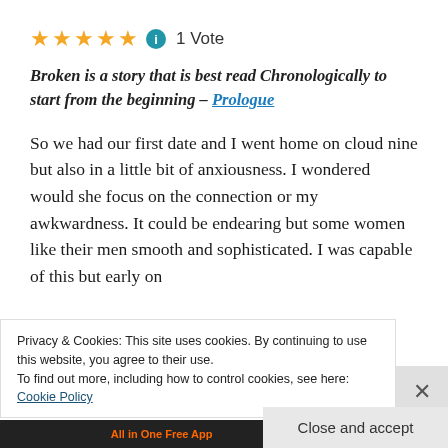[Figure (other): Five gold/yellow star rating icons followed by a blue info circle icon and '1 Vote' text]
Broken is a story that is best read Chronologically to start from the beginning – Prologue
So we had our first date and I went home on cloud nine but also in a little bit of anxiousness. I wondered would she focus on the connection or my awkwardness. It could be endearing but some women like their men smooth and sophisticated. I was capable of this but early on
Privacy & Cookies: This site uses cookies. By continuing to use this website, you agree to their use.
To find out more, including how to control cookies, see here:
Cookie Policy
Close and accept